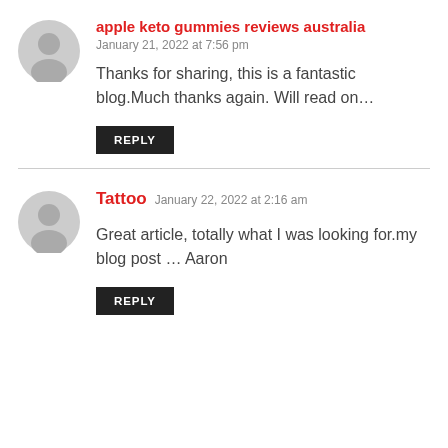apple keto gummies reviews australia
January 21, 2022 at 7:56 pm
Thanks for sharing, this is a fantastic blog.Much thanks again. Will read on…
REPLY
Tattoo
January 22, 2022 at 2:16 am
Great article, totally what I was looking for.my blog post … Aaron
REPLY